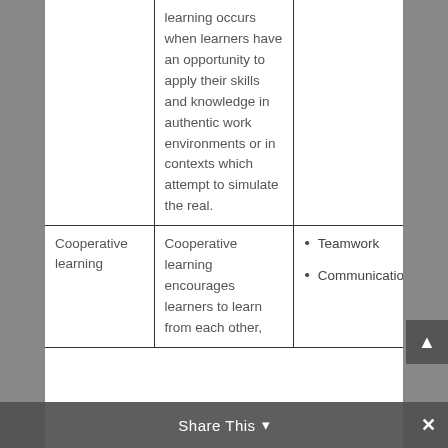|  |  |  |
| --- | --- | --- |
|  | learning occurs when learners have an opportunity to apply their skills and knowledge in authentic work environments or in contexts which attempt to simulate the real. |  |
| Cooperative learning | Cooperative learning encourages learners to learn from each other, | • Teamwork
• Communication |